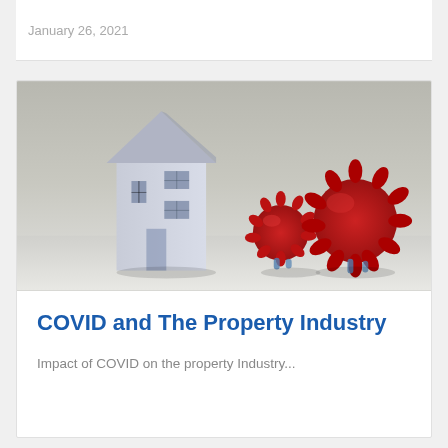January 26, 2021
[Figure (photo): A white paper house model on the left side, and two red coronavirus particle models (one smaller, one larger) on the right side, set against a gray background with a white surface below.]
COVID and The Property Industry
Impact of COVID on the property Industry...